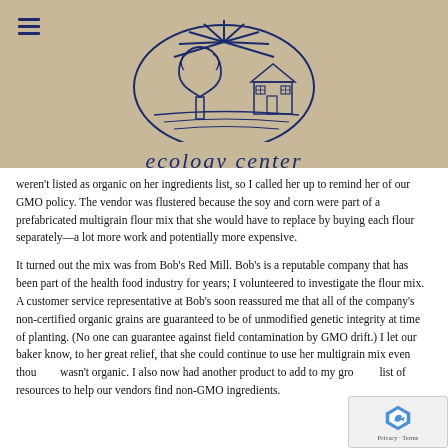[Figure (logo): Ecology Center logo: a line-drawn scene with a tree, sun rays, and a house, rendered in dark navy blue on tan/kraft paper background]
ecology center
weren't listed as organic on her ingredients list, so I called her up to remind her of our GMO policy. The vendor was flustered because the soy and corn were part of a prefabricated multigrain flour mix that she would have to replace by buying each flour separately—a lot more work and potentially more expensive.
It turned out the mix was from Bob's Red Mill. Bob's is a reputable company that has been part of the health food industry for years; I volunteered to investigate the flour mix. A customer service representative at Bob's soon reassured me that all of the company's non-certified organic grains are guaranteed to be of unmodified genetic integrity at time of planting. (No one can guarantee against field contamination by GMO drift.) I let our baker know, to her great relief, that she could continue to use her multigrain mix even though it wasn't organic. I also now had another product to add to my growing list of resources to help our vendors find non-GMO ingredients.